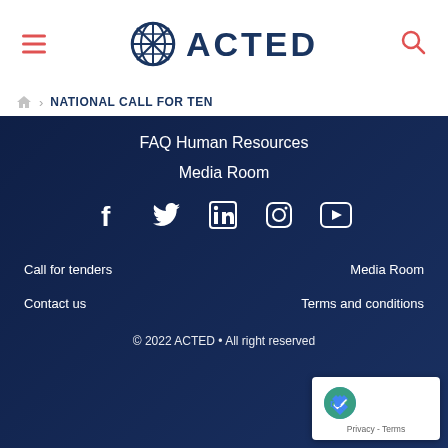ACTED
NATIONAL CALL FOR TEN...
FAQ Human Resources
Media Room
[Figure (other): Social media icons: Facebook, Twitter, LinkedIn, Instagram, YouTube]
Call for tenders
Media Room
Contact us
Terms and conditions
© 2022 ACTED • All right reserved